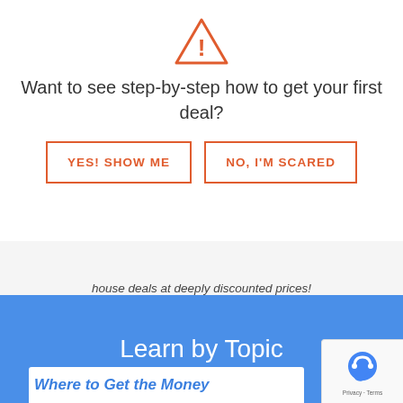[Figure (illustration): Warning triangle icon with exclamation mark in orange/coral color]
Want to see step-by-step how to get your first deal?
YES! SHOW ME
NO, I'M SCARED
house deals at deeply discounted prices!
Learn by Topic
Where to Get the Money